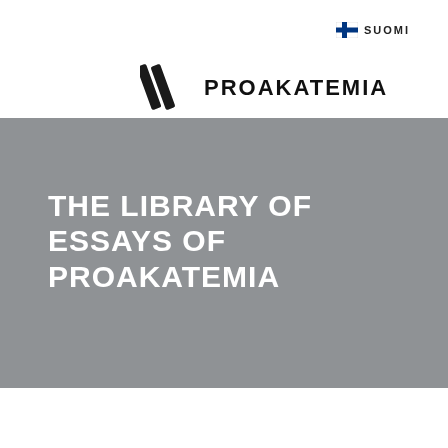[Figure (logo): Finnish flag icon with blue cross on white background, next to SUOMI text]
[Figure (logo): Proakatemia logo: two diagonal slash marks followed by PROAKATEMIA text in bold black]
THE LIBRARY OF ESSAYS OF PROAKATEMIA